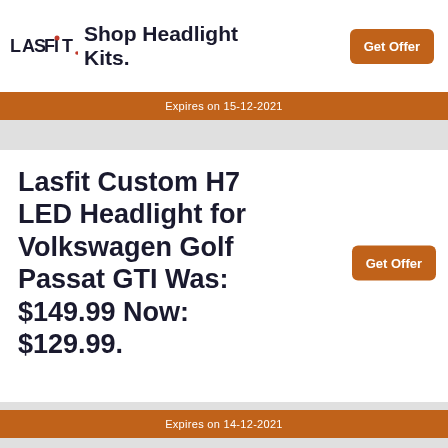[Figure (logo): LASFIT brand logo with red dot on letter i]
Shop Headlight Kits.
Get Offer
Expires on 15-12-2021
Lasfit Custom H7 LED Headlight for Volkswagen Golf Passat GTI Was: $149.99 Now: $129.99.
Get Offer
Expires on 14-12-2021